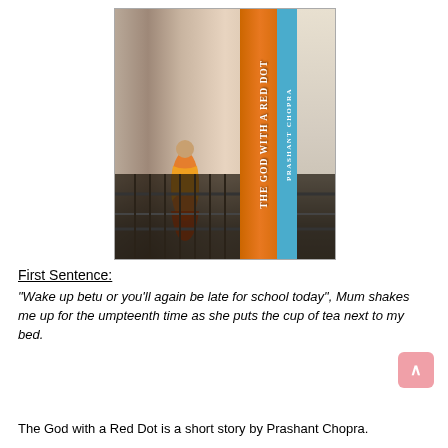[Figure (illustration): Book cover of 'The God with a Red Dot' by Prashant Chopra. Shows a temple corridor with a monk in orange robes standing near ornate railings. The spine of the book is orange with the title in white vertical text and a blue strip with the author's name.]
First Sentence:
"Wake up betu or you'll again be late for school today", Mum shakes me up for the umpteenth time as she puts the cup of tea next to my bed.
The God with a Red Dot is a short story by Prashant Chopra.